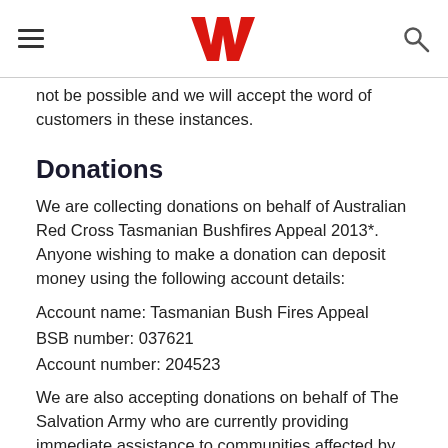Westpac logo with hamburger menu and search icon
not be possible and we will accept the word of customers in these instances.
Donations
We are collecting donations on behalf of Australian Red Cross Tasmanian Bushfires Appeal 2013*. Anyone wishing to make a donation can deposit money using the following account details:
Account name: Tasmanian Bush Fires Appeal
BSB number: 037621
Account number: 204523
We are also accepting donations on behalf of The Salvation Army who are currently providing immediate assistance to communities affected by bushfires across south-east Australia. This assistance will initially include meals, water, as well